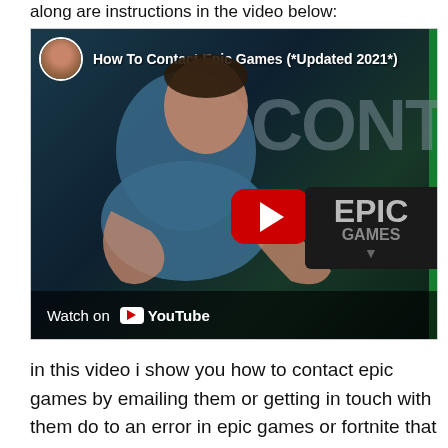along are instructions in the video below:
[Figure (screenshot): YouTube video embed showing a person with the title 'How To Contact Epic Games (*Updated 2021*)' with a Watch on YouTube button at the bottom]
in this video i show you how to contact epic games by emailing them or getting in touch with them do to an error in epic games or fortnite that they can help you with. I shows you this by going into epic games website and